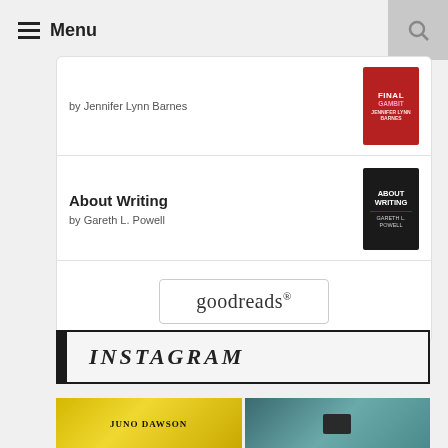Menu
by Jennifer Lynn Barnes
About Writing
by Gareth L. Powell
[Figure (logo): goodreads logo button]
INSTAGRAM
[Figure (photo): Instagram photo grid showing a Juno Dawson book cover and a bag/bicycle photo]